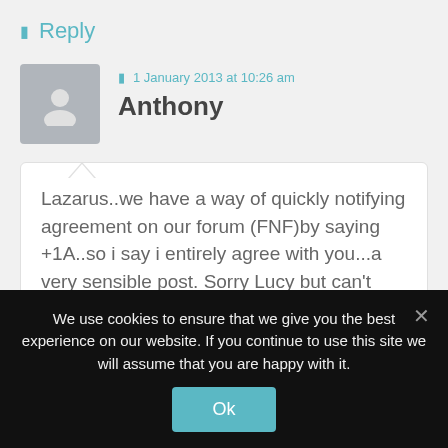Reply
1 January 2013 at 10:26 am
Anthony
Lazarus..we have a way of quickly notifying agreement on our forum (FNF)by saying +1A..so i say i entirely agree with you...a very sensible post. Sorry Lucy but can't agree your response. Whatever the gay lobby and the media like to
We use cookies to ensure that we give you the best experience on our website. If you continue to use this site we will assume that you are happy with it.